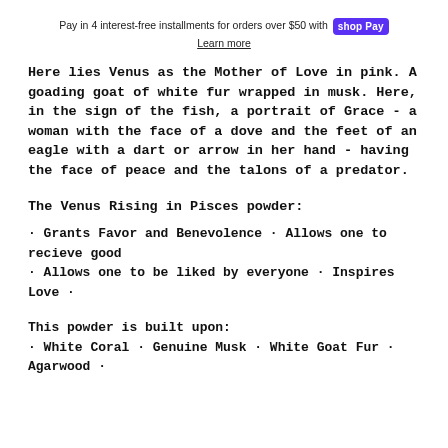Pay in 4 interest-free installments for orders over $50 with Shop Pay
Learn more
Here lies Venus as the Mother of Love in pink. A goading goat of white fur wrapped in musk. Here, in the sign of the fish, a portrait of Grace - a woman with the face of a dove and the feet of an eagle with a dart or arrow in her hand - having the face of peace and the talons of a predator.
The Venus Rising in Pisces powder:
· Grants Favor and Benevolence · Allows one to recieve good
· Allows one to be liked by everyone · Inspires Love ·
This powder is built upon:
· White Coral · Genuine Musk · White Goat Fur · Agarwood ·